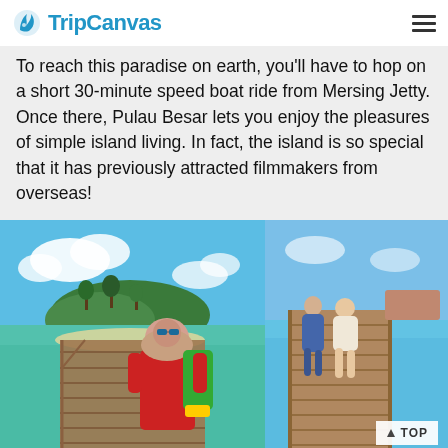TripCanvas
To reach this paradise on earth, you'll have to hop on a short 30-minute speed boat ride from Mersing Jetty. Once there, Pulau Besar lets you enjoy the pleasures of simple island living. In fact, the island is so special that it has previously attracted filmmakers from overseas!
[Figure (photo): Two photos side by side: left photo shows a woman in hijab with backpack and sunglasses standing on a wooden jetty with a tropical island in the background; right photo shows a couple sitting on a wooden pier over turquoise water.]
Photo Via Intanparuna, Lis.amarie